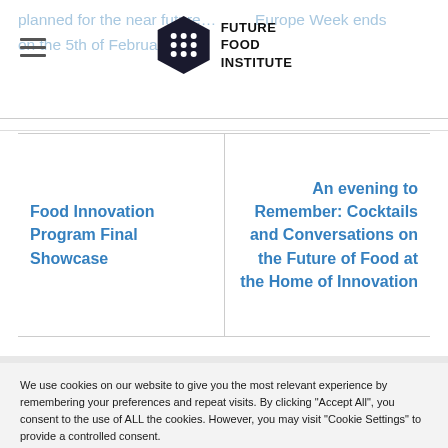Future Food Institute — website header with logo and hamburger menu
planned for the near future… Europe Week ends on the 5th of February
Food Innovation Program Final Showcase
An evening to Remember: Cocktails and Conversations on the Future of Food at the Home of Innovation
We use cookies on our website to give you the most relevant experience by remembering your preferences and repeat visits. By clicking "Accept All", you consent to the use of ALL the cookies. However, you may visit "Cookie Settings" to provide a controlled consent.